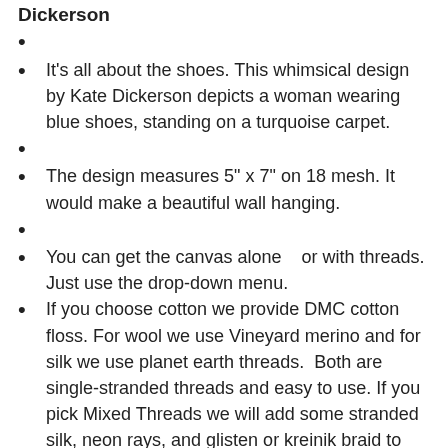Dickerson
It's all about the shoes. This whimsical design by Kate Dickerson depicts a woman wearing blue shoes, standing on a turquoise carpet.
The design measures 5" x 7" on 18 mesh. It would make a beautiful wall hanging.
You can get the canvas alone   or with threads.  Just use the drop-down menu.
If you choose cotton we provide DMC cotton floss. For wool we use Vineyard merino and for silk we use planet earth threads.  Both are single-stranded threads and easy to use. If you pick Mixed Threads we will add some stranded silk, neon rays, and glisten or kreinik braid to our other selections.